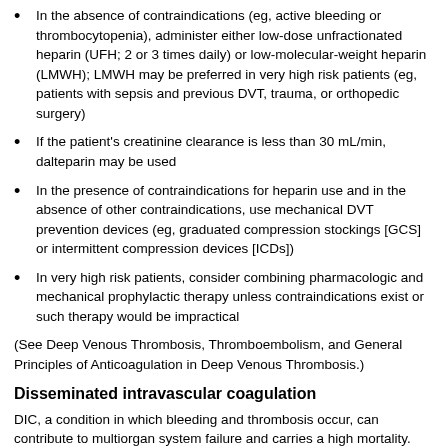In the absence of contraindications (eg, active bleeding or thrombocytopenia), administer either low-dose unfractionated heparin (UFH; 2 or 3 times daily) or low-molecular-weight heparin (LMWH); LMWH may be preferred in very high risk patients (eg, patients with sepsis and previous DVT, trauma, or orthopedic surgery)
If the patient's creatinine clearance is less than 30 mL/min, dalteparin may be used
In the presence of contraindications for heparin use and in the absence of other contraindications, use mechanical DVT prevention devices (eg, graduated compression stockings [GCS] or intermittent compression devices [ICDs])
In very high risk patients, consider combining pharmacologic and mechanical prophylactic therapy unless contraindications exist or such therapy would be impractical
(See Deep Venous Thrombosis, Thromboembolism, and General Principles of Anticoagulation in Deep Venous Thrombosis.)
Disseminated intravascular coagulation
DIC, a condition in which bleeding and thrombosis occur, can contribute to multiorgan system failure and carries a high mortality. Although controversy exists regarding DIC treatment, the overall management strategy is to treat the underlying cause and provide supportive care (see Correction of anemia and coagulopathy under General Treatment Guidelines).
In 2009, the British Committee for Standards in Haematology (BCSH) published their guidelines recommendations, in which they state that treating